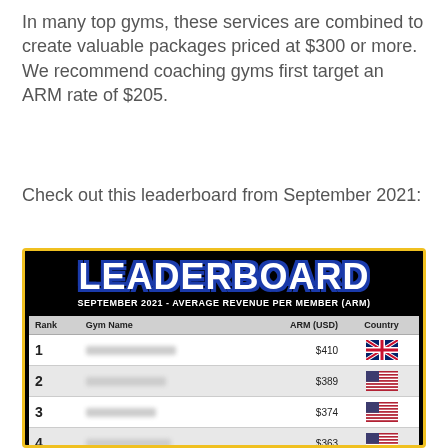In many top gyms, these services are combined to create valuable packages priced at $300 or more. We recommend coaching gyms first target an ARM rate of $205.
Check out this leaderboard from September 2021:
[Figure (table-as-image): Leaderboard image showing September 2021 Average Revenue Per Member (ARM) rankings. Rank 1: blurred gym name $410 UK flag; Rank 2: blurred gym name $389 US flag; Rank 3: blurred gym name $374 US flag; Rank 4: blurred gym name $363 US flag; Rank 5: blurred gym name $356 US flag.]